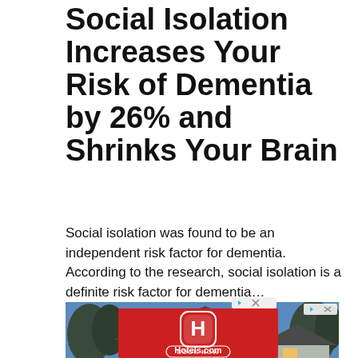Social Isolation Increases Your Risk of Dementia by 26% and Shrinks Your Brain
Social isolation was found to be an independent risk factor for dementia. According to the research, social isolation is a definite risk factor for dementia...
[Figure (photo): Exterior photo of a suburban two-story house at dusk with warm interior lighting, surrounded by trees.]
[Figure (screenshot): Hotels.com advertisement banner with red background, Hotels.com logo icon, Hotels.com wordmark, and BOOK NOW button.]